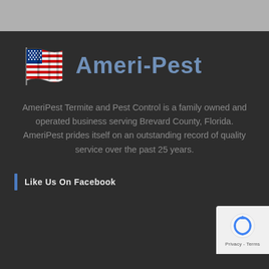[Figure (logo): Ameri-Pest logo with an American flag graphic and the text 'Ameri-Pest' in blue-gray bold font]
AmeriPest Termite and Pest Control is a family owned and operated business serving Brevard County, Florida. AmeriPest prides itself on an outstanding record of quality service over the past 25 years.
Like Us On Facebook
[Figure (screenshot): White box (Facebook widget placeholder) and reCAPTCHA badge with Privacy - Terms text]